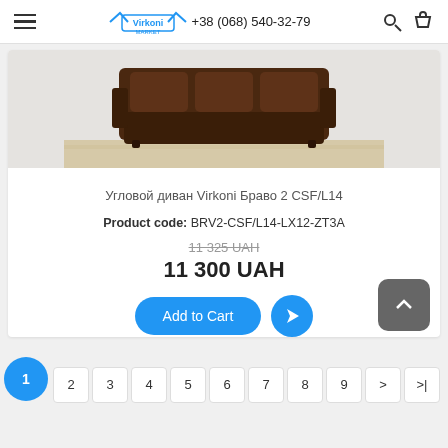Virkoni Market  +38 (068) 540-32-79
[Figure (photo): Product photo of a dark brown corner sofa (Virkoni Bravo 2 CSF/L14) on light wooden floor background]
Угловой диван Virkoni Браво 2 CSF/L14
Product code: BRV2-CSF/L14-LX12-ZT3A
11 325 UAH (crossed out) / 11 300 UAH
[Figure (other): Add to Cart button and cursor icon button]
Pagination: 1 2 3 4 5 6 7 8 9 > >|